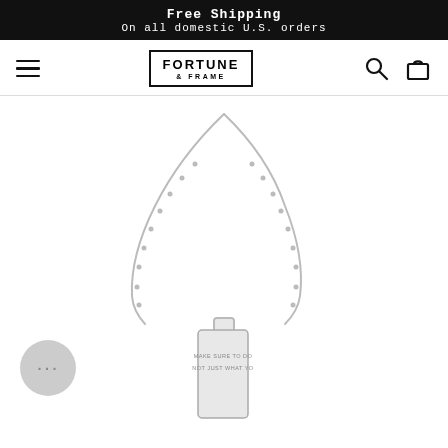Free Shipping
On all domestic U.S. orders
[Figure (logo): Fortune & Frame brand logo in a rectangular border]
[Figure (photo): Silver bar pendant necklace with engraved text reading MAKE SURE TO DO... NOT JUST WHAT YO... on a rolo chain, shown on white background]